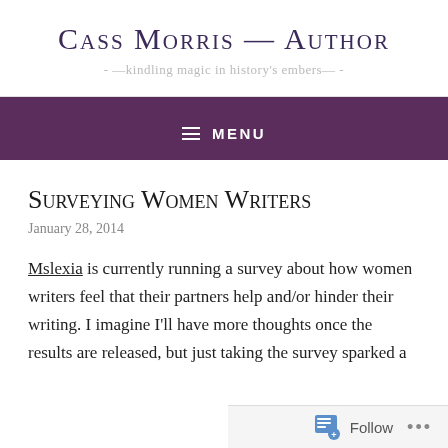Cass Morris — Author
- —kindling magic in history's embers— -
≡ MENU
Surveying Women Writers
January 28, 2014
Mslexia is currently running a survey about how women writers feel that their partners help and/or hinder their writing. I imagine I'll have more thoughts once the results are released, but just taking the survey sparked a
Follow ...